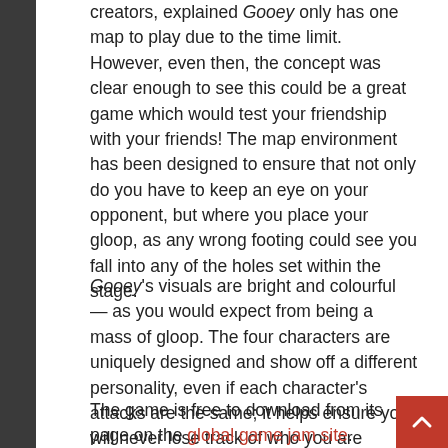creators, explained Gooey only has one map to play due to the time limit. However, even then, the concept was clear enough to see this could be a great game which would test your friendship with your friends! The map environment has been designed to ensure that not only do you have to keep an eye on your opponent, but where you place your gloop, as any wrong footing could see you fall into any of the holes set within the stage.
Gooey's visuals are bright and colourful — as you would expect from being a mass of gloop. The four characters are uniquely designed and show off a different personality, even if each character's attacks are the same; it helps ensure you will never lose track of who you are playing, in the equally vibrant arena.
The game is free to download from its page on the global game jam site.